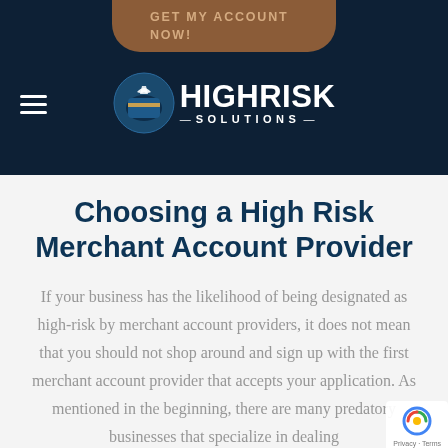GET MY ACCOUNT NOW!
[Figure (logo): High Risk Solutions logo with icon of hand holding credit card, white text on dark navy background]
Choosing a High Risk Merchant Account Provider
If your business has the likelihood of being designated as high-risk by merchant account providers, it does not mean that you should not shop around and sign up with the first merchant account provider that accepts your application. As mentioned in the beginning, there are many predatory businesses that specialize in dealing